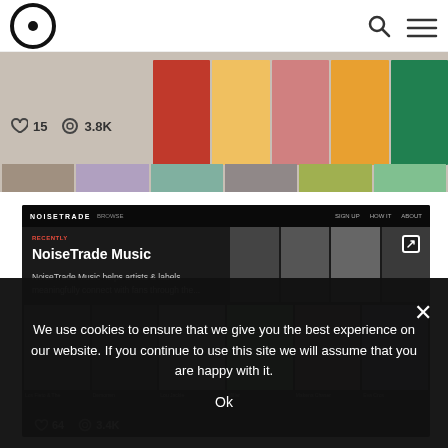[Figure (screenshot): Top navigation bar with circular logo on left and search/menu icons on right]
[Figure (screenshot): First website screenshot strip showing likes count 15 and views 3.8K with album thumbnails]
[Figure (screenshot): NoiseTrade Music website screenshot showing logo, navigation, title, description and artist grid]
NoiseTrade Music
NoiseTrade Music helps artists & labels meaningfully connect with fans through the...
We use cookies to ensure that we give you the best experience on our website. If you continue to use this site we will assume that you are happy with it.
Ok